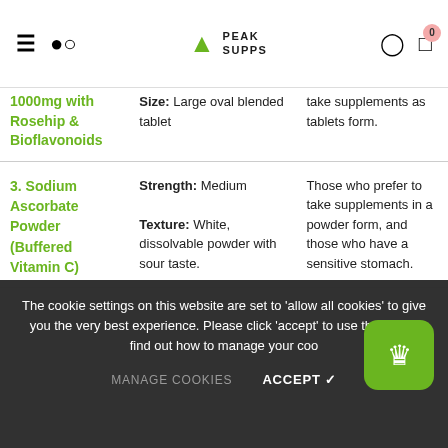PEAK SUPPS
| Product | Details | Who It's For |
| --- | --- | --- |
| 1000mg with Rosehip & Bioflavonoids | Size: Large oval blended tablet | take supplements as tablets form. |
| 3. Sodium Ascorbate Powder (Buffered Vitamin C) | Strength: Medium
Texture: White, dissolvable powder with sour taste. | Those who prefer to take supplements in a powder form, and those who have a sensitive stomach. |
|  | Strength: Medium | Those who prefer to take... |
The cookie settings on this website are set to 'allow all cookies' to give you the very best experience. Please click 'accept' to use the site or find out how to manage your cookies.